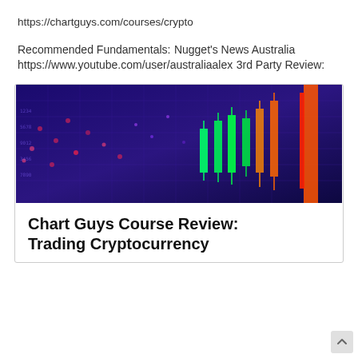https://chartguys.com/courses/crypto
Recommended Fundamentals:
Nugget's News Australia
https://www.youtube.com/user/australiaalex
3rd Party Review:
[Figure (photo): A colorful cryptocurrency/stock trading chart with green and red candlesticks on a blue/purple background displaying glowing price data]
Chart Guys Course Review: Trading Cryptocurrency